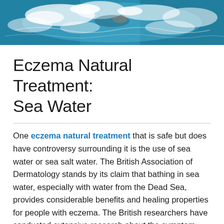[Figure (photo): Swimming or water splash photo showing blue water with white splashing waves, possibly a swimmer in action]
Eczema Natural Treatment: Sea Water
One eczema natural treatment that is safe but does have controversy surrounding it is the use of sea water or sea salt water. The British Association of Dermatology stands by its claim that bathing in sea water, especially with water from the Dead Sea, provides considerable benefits and healing properties for people with eczema. The British researchers have conducted extensive research about the symptom suppression and the ability of the salt water to ward off infection for those with eczema.